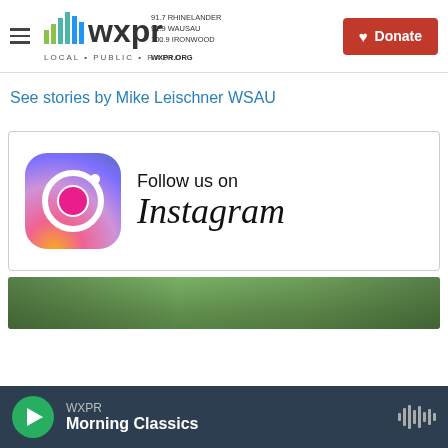[Figure (logo): WXPR logo with bars graphic, tagline LOCAL PUBLIC RADIO, frequencies 91.7 RHINELANDER, 91.9 WAUSAU, 100.9 IRONWOOD, WXPR.ORG, and red Donate button with heart icon]
See stories by Mike Leischner WSAU
[Figure (illustration): Follow us on Instagram banner with Instagram gradient icon and Instagram wordmark text]
[Figure (photo): Partial photo of outdoor scene with trees, cut off at bottom]
WXPR  Morning Classics